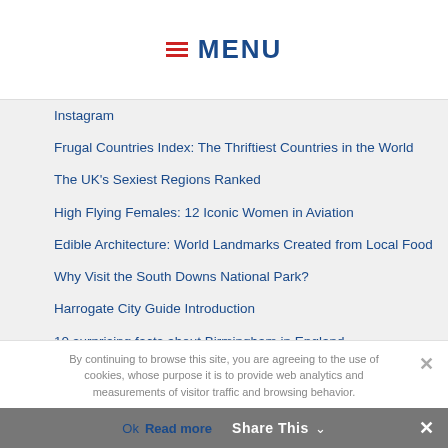≡ MENU
Instagram
Frugal Countries Index: The Thriftiest Countries in the World
The UK's Sexiest Regions Ranked
High Flying Females: 12 Iconic Women in Aviation
Edible Architecture: World Landmarks Created from Local Food
Why Visit the South Downs National Park?
Harrogate City Guide Introduction
10 surprising facts about Birmingham in England
By continuing to browse this site, you are agreeing to the use of cookies, whose purpose it is to provide web analytics and measurements of visitor traffic and browsing behavior.
Ok  Read more  Share This